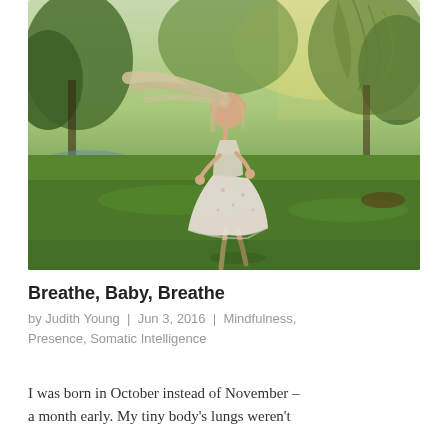[Figure (photo): A young girl in a white floral dress spinning or dancing on a green lawn in a park, with trees and sunlight in the background. Motion blur on her hair. Warm evening light.]
Breathe, Baby, Breathe
by Judith Young | Jun 3, 2016 | Mindfulness, Presence, Somatic Intelligence
I was born in October instead of November – a month early. My tiny body's lungs weren't